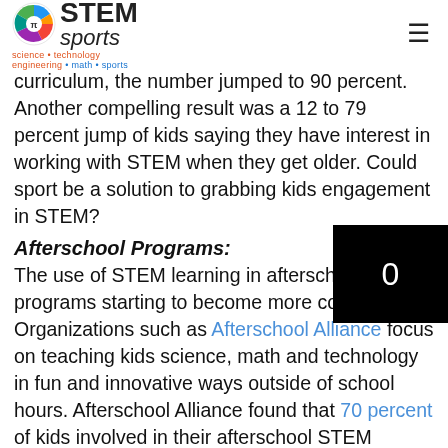STEM sports — science • technology engineering • math • sports
curriculum, the number jumped to 90 percent. Another compelling result was a 12 to 79 percent jump of kids saying they have interest in working with STEM when they get older. Could sport be a solution to grabbing kids engagement in STEM?
Afterschool Programs:
The use of STEM learning in afterschool programs starting to become more common. Organizations such as Afterschool Alliance focus on teaching kids science, math and technology in fun and innovative ways outside of school hours. Afterschool Alliance found that 70 percent of kids involved in their afterschool STEM program were more interested in the subject matter and had a higher comprehension of the subjects. There are currently 10.2 million kids in every state that